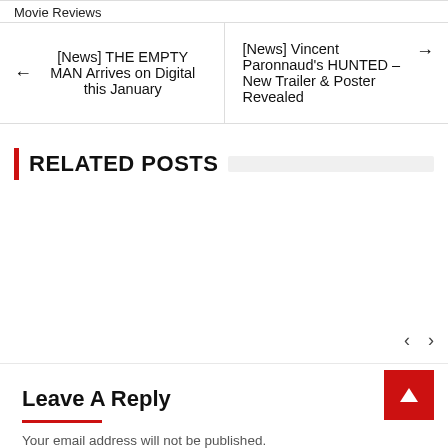Movie Reviews
[News] THE EMPTY MAN Arrives on Digital this January
[News] Vincent Paronnaud's HUNTED – New Trailer & Poster Revealed
RELATED POSTS
Leave A Reply
Your email address will not be published.